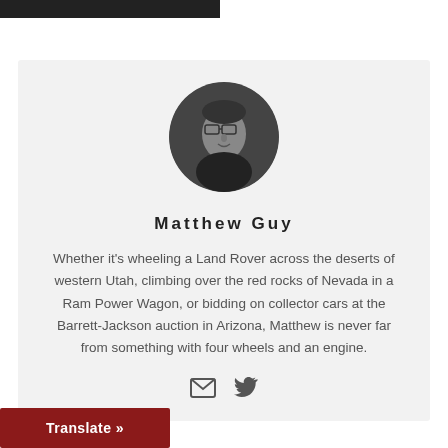[Figure (photo): Black rectangular banner at top left of page]
[Figure (photo): Circular black and white portrait photo of Matthew Guy, a man wearing glasses and a dark shirt]
Matthew Guy
Whether it’s wheeling a Land Rover across the deserts of western Utah, climbing over the red rocks of Nevada in a Ram Power Wagon, or bidding on collector cars at the Barrett-Jackson auction in Arizona, Matthew is never far from something with four wheels and an engine.
[Figure (infographic): Email icon and Twitter bird icon social media links]
Translate »